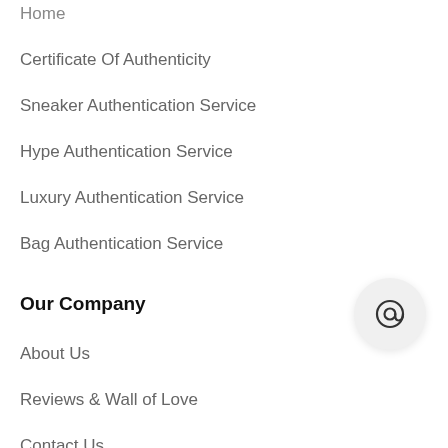Home
Certificate Of Authenticity
Sneaker Authentication Service
Hype Authentication Service
Luxury Authentication Service
Bag Authentication Service
Our Company
About Us
Reviews & Wall of Love
Contact Us
[Figure (other): Circular button with @ symbol]